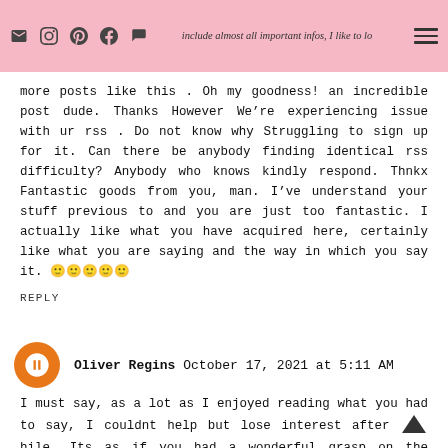I want to say that this post is amazing, great written, and include almost all important infos. I like to look more posts like this.
more posts like this . Oh my goodness! an incredible post dude. Thanks However We're experiencing issue with ur rss . Do not know why Struggling to sign up for it. Can there be anybody finding identical rss difficulty? Anybody who knows kindly respond. Thnkx Fantastic goods from you, man. I've understand your stuff previous to and you are just too fantastic. I actually like what you have acquired here, certainly like what you are saying and the way in which you say it. 🙂🙂🙂🙂🙂
REPLY
Oliver Regins October 17, 2021 at 5:11 AM
I must say, as a lot as I enjoyed reading what you had to say, I couldnt help but lose interest after a while. Its as if you had a wonderful grasp on the subject matter, but you forgot to include your readers.